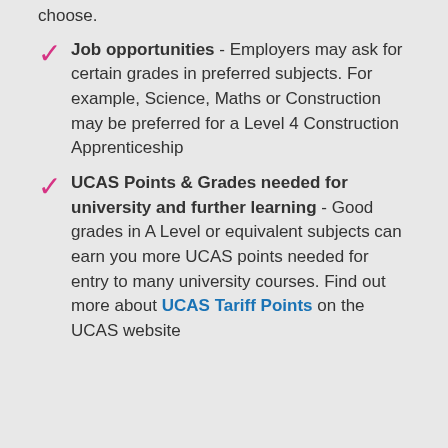choose.
Job opportunities - Employers may ask for certain grades in preferred subjects. For example, Science, Maths or Construction may be preferred for a Level 4 Construction Apprenticeship
UCAS Points & Grades needed for university and further learning - Good grades in A Level or equivalent subjects can earn you more UCAS points needed for entry to many university courses. Find out more about UCAS Tariff Points on the UCAS website